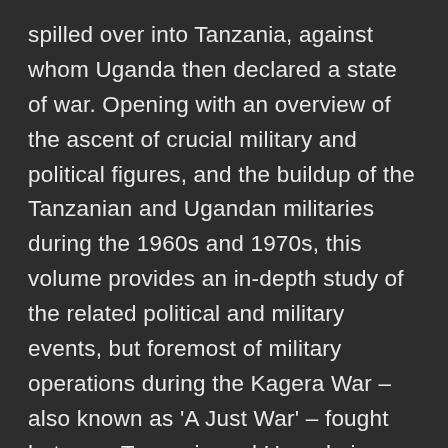spilled over into Tanzania, against whom Uganda then declared a state of war. Opening with an overview of the ascent of crucial military and political figures, and the buildup of the Tanzanian and Ugandan militaries during the 1960s and 1970s, this volume provides an in-depth study of the related political and military events, but foremost of military operations during the Kagera War – also known as 'A Just War' – fought between Tanzania and Uganda in 1978–1979. It further traces the almost continuous armed conflict in Uganda of 1981–1994, which became renowned for emergence of several insurgent movements notorious for incredible violence against civilian population, some of which remain active in central Africa to this day. This book is illustrated